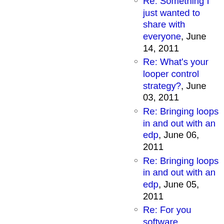Re: Something I just wanted to share with everyone, June 14, 2011
Re: What's your looper control strategy?, June 03, 2011
Re: Bringing loops in and out with an edp, June 06, 2011
Re: Bringing loops in and out with an edp, June 05, 2011
Re: For you software folks....what interface?, June 09, 2011
Re: What's your looper control strategy?, June 03, 2011
Re: What's your looper control strategy?, June 04, 2011
Re: Something I just wanted to share with everyone, June 14, 2011